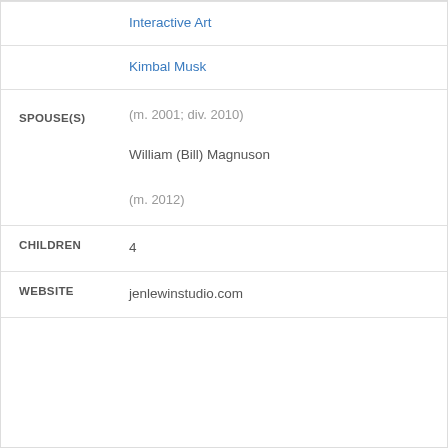Interactive Art
Kimbal Musk
SPOUSE(S)
(m. 2001; div. 2010)
William (Bill) Magnuson
(m. 2012)
CHILDREN	4
WEBSITE	jenlewinstudio.com